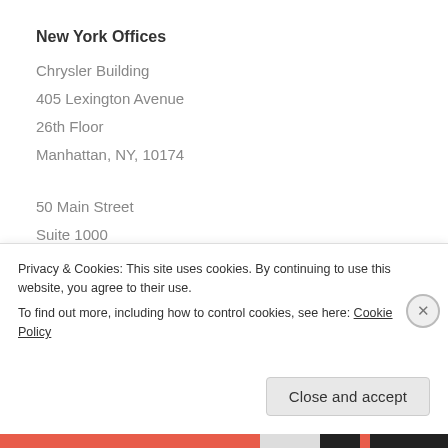New York Offices
Chrysler Building
405 Lexington Avenue
26th Floor
Manhattan, NY, 10174
50 Main Street
Suite 1000
White Plains, NY, 10606
[Figure (illustration): Twitter bird logo (cyan/blue bird) above a partial input box with cyan border]
Privacy & Cookies: This site uses cookies. By continuing to use this website, you agree to their use.
To find out more, including how to control cookies, see here: Cookie Policy